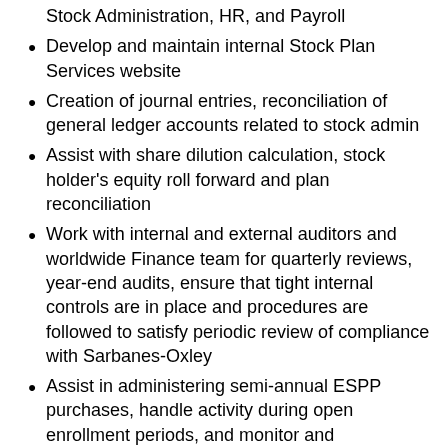Stock Administration, HR, and Payroll
Develop and maintain internal Stock Plan Services website
Creation of journal entries, reconciliation of general ledger accounts related to stock admin
Assist with share dilution calculation, stock holder's equity roll forward and plan reconciliation
Work with internal and external auditors and worldwide Finance team for quarterly reviews, year-end audits, ensure that tight internal controls are in place and procedures are followed to satisfy periodic review of compliance with Sarbanes-Oxley
Assist in administering semi-annual ESPP purchases, handle activity during open enrollment periods, and monitor and communicate contribution changes to Payroll at